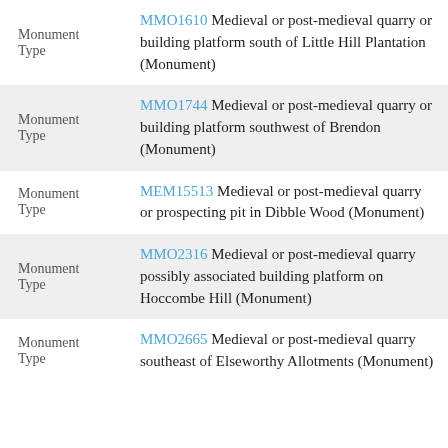| Type | Monument |
| --- | --- |
| Monument Type | MMO1610 Medieval or post-medieval quarry or building platform south of Little Hill Plantation (Monument) |
| Monument Type | MMO1744 Medieval or post-medieval quarry or building platform southwest of Brendon (Monument) |
| Monument Type | MEM15513 Medieval or post-medieval quarry or prospecting pit in Dibble Wood (Monument) |
| Monument Type | MMO2316 Medieval or post-medieval quarry possibly associated building platform on Hoccombe Hill (Monument) |
| Monument Type | MMO2665 Medieval or post-medieval quarry southeast of Elseworthy Allotments (Monument) |